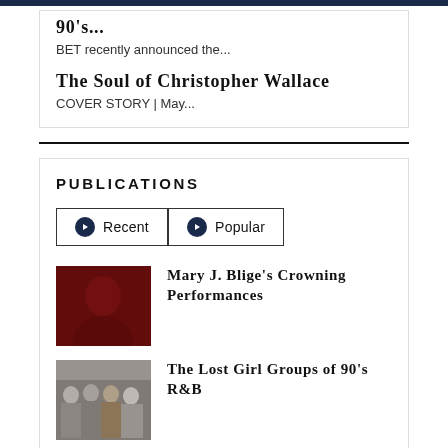90's...
BET recently announced the...
The Soul of Christopher Wallace
COVER STORY | May...
PUBLICATIONS
Recent
Popular
[Figure (photo): Red-toned photo of Mary J. Blige]
Mary J. Blige's Crowning Performances
[Figure (photo): Group photo of girl group members]
The Lost Girl Groups of 90's R&B